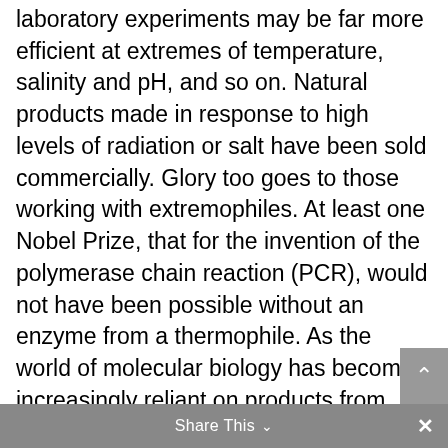laboratory experiments may be far more efficient at extremes of temperature, salinity and pH, and so on. Natural products made in response to high levels of radiation or salt have been sold commercially. Glory too goes to those working with extremophiles. At least one Nobel Prize, that for the invention of the polymerase chain reaction (PCR), would not have been possible without an enzyme from a thermophile. As the world of molecular biology has become increasingly reliant on products from extremophiles, they will continue be the silent partner in future awards.
Share This ∨  ✕